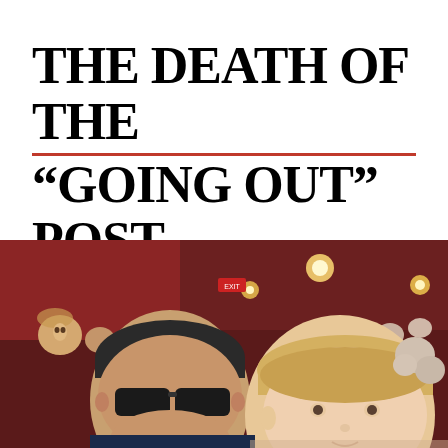THE DEATH OF THE “GOING OUT” POST SOBRIETY.
[Figure (photo): A selfie photo of two people in sunglasses taken inside a theater or auditorium with red-lit ceiling and a crowd of people visible in the background.]